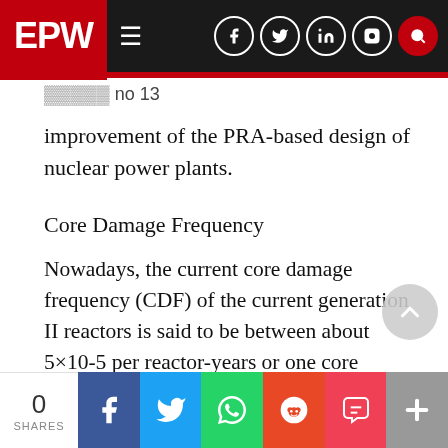EPW  ≡
...no 13
improvement of the PRA-based design of nuclear power plants.
Core Damage Frequency
Nowadays, the current core damage frequency (CDF) of the current generation II reactors is said to be between about 5×10-5 per reactor-years or one core damage for every 20,000 reactor years (as expected by Rasmussen in 1975 for the US) in Europe [6] and one for every 50,000 reactor years (or 2×10-5) in the US.[7] With about 440 nuclear reactors currently operating worldwide, this
0 SHARES  f  🐦  📱  reddit  pocket  +